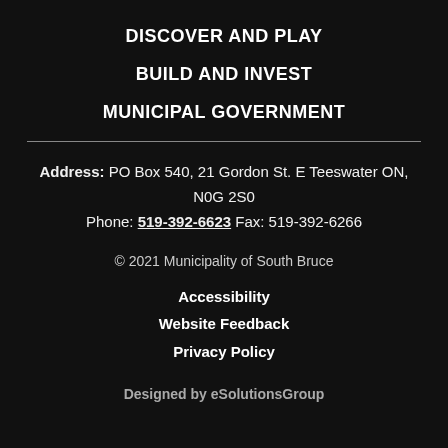DISCOVER AND PLAY
BUILD AND INVEST
MUNICIPAL GOVERNMENT
Address: PO Box 540, 21 Gordon St. E Teeswater ON, N0G 2S0
Phone: 519-392-6623 Fax: 519-392-6266
© 2021 Municipality of South Bruce
Accessibility
Website Feedback
Privacy Policy
Designed by eSolutionsGroup